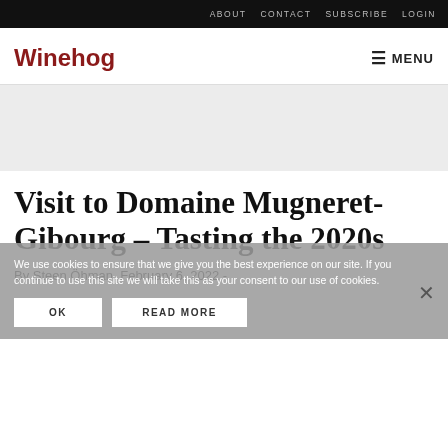ABOUT   CONTACT   SUBSCRIBE   LOGIN
Winehog
≡ MENU
Visit to Domaine Mugneret-Gibourg – Tasting the 2020s
We use cookies to ensure that we give you the best experience on our site. If you continue to use this site we will take this as your consent to our use of cookies.
OK   READ MORE
By Steen Öhman  February 6, 2022 -